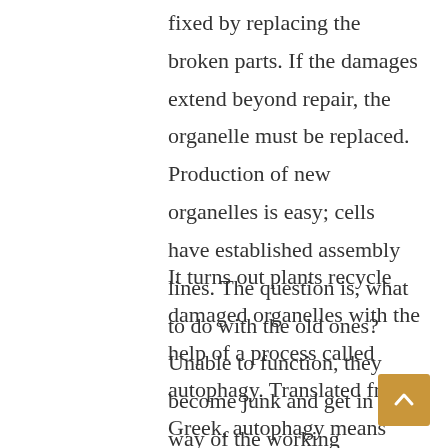fixed by replacing the broken parts. If the damages extend beyond repair, the organelle must be replaced. Production of new organelles is easy; cells have established assembly lines. The question is, what to do with the old ones? Unable to function, they become junk and get in the way of the working organelles.
It turns out plants recycle damaged organelles with the help of a process called autophagy. Translated from Greek, autophagy means “self-eating.” Autophagy starts with formation of a new organelle, an